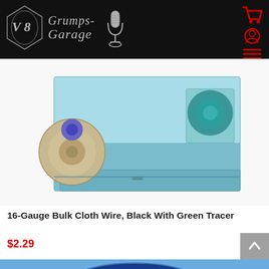Grumps-Garage
[Figure (photo): Product photo of bulk cloth wire on a light blue metal spool dispenser, with blue/teal wires visible]
16-Gauge Bulk Cloth Wire, Black With Green Tracer
$2.29
[Figure (photo): Partial view of a Ford logo on a blue background product item]